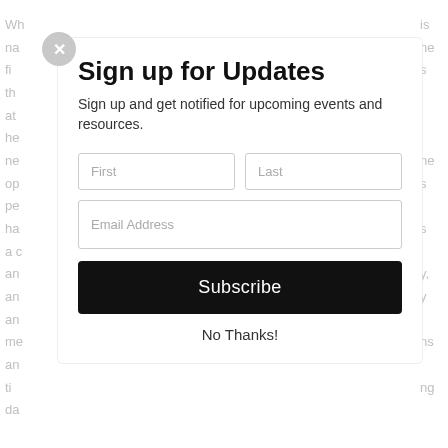Wh na fi th at he ne op pe ha a c an an an me an ti da
is ne s ns y, y ns ng
[Figure (screenshot): Modal popup dialog for signing up for updates. Contains a close button (X), title 'Sign up for Updates', subtitle text, First/Last name fields, Email Address field, Subscribe button, and No Thanks link.]
Sign up for Updates
Sign up and get notified for upcoming events and resources.
First
Last
Email Address
Subscribe
No Thanks!